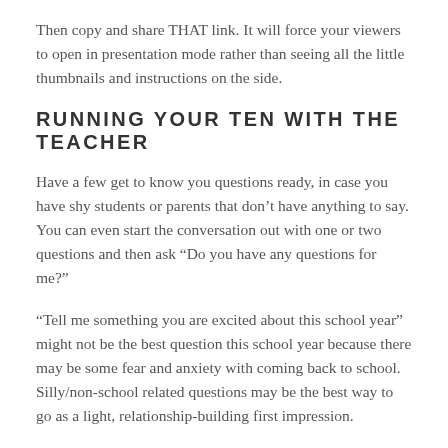Then copy and share THAT link. It will force your viewers to open in presentation mode rather than seeing all the little thumbnails and instructions on the side.
RUNNING YOUR TEN WITH THE TEACHER
Have a few get to know you questions ready, in case you have shy students or parents that don't have anything to say. You can even start the conversation out with one or two questions and then ask “Do you have any questions for me?”
“Tell me something you are excited about this school year” might not be the best question this school year because there may be some fear and anxiety with coming back to school. Silly/non-school related questions may be the best way to go as a light, relationship-building first impression.
Some silly get-to-know-you questions that might be